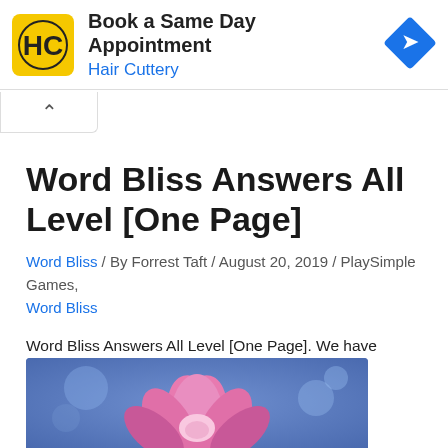[Figure (screenshot): Hair Cuttery advertisement banner with yellow HC logo, text 'Book a Same Day Appointment' and 'Hair Cuttery' in blue, and a blue diamond navigation icon]
Word Bliss Answers All Level [One Page]
Word Bliss / By Forrest Taft / August 20, 2019 / PlaySimple Games, Word Bliss
Word Bliss Answers All Level [One Page]. We have solved all the levels for you. Look below for help.
[Figure (photo): Pink lotus flower on blue background]